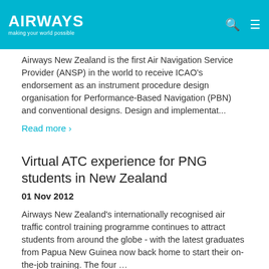AIRWAYS making your world possible
Airways New Zealand is the first Air Navigation Service Provider (ANSP) in the world to receive ICAO's endorsement as an instrument procedure design organisation for Performance-Based Navigation (PBN) and conventional designs. Design and implementat...
Read more ›
Virtual ATC experience for PNG students in New Zealand
01 Nov 2012
Airways New Zealand's internationally recognised air traffic control training programme continues to attract students from around the globe - with the latest graduates from Papua New Guinea now back home to start their on-the-job training. The four …
Read more ›